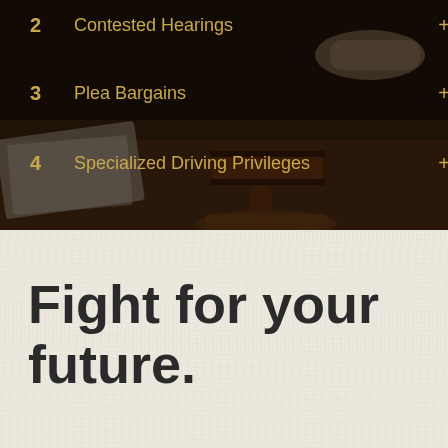[Figure (photo): Dark-toned photo of a courtroom/legal setting with a wooden gavel on a sound block and papers on a desk, hands visible in background, with dark semi-transparent overlay]
2   Contested Hearings
3   Plea Bargains
4   Specialized Driving Privileges
Fight for your future.